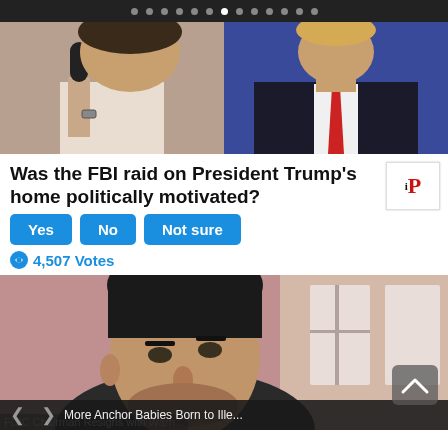[Figure (photo): Navigation dots bar at top, dark background with circular dots, one white (active)]
[Figure (photo): Two side-by-side photos: left shows a woman holding a microphone, right shows a man in dark suit with red tie]
Was the FBI raid on President Trump's home politically motivated?
[Figure (infographic): Three blue buttons labeled Yes, No, Not sure. Logo box with 'iP' branding on right.]
4,507 Votes
[Figure (photo): Close-up photo of a man with dark hair looking upward, reddish background]
FDIC Chairman Resigns with Warn...
More Anchor Babies Born to Ille...